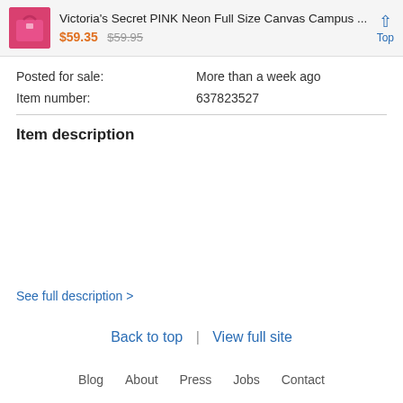Victoria's Secret PINK Neon Full Size Canvas Campus ... $59.35 $59.95 Top
Posted for sale: More than a week ago
Item number: 637823527
Item description
See full description >
Back to top | View full site
Blog  About  Press  Jobs  Contact